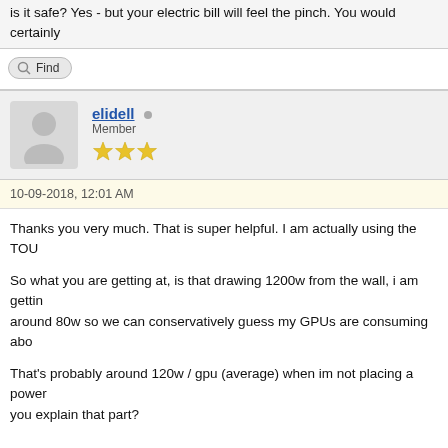is it safe? Yes - but your electric bill will feel the pinch. You would certainly
Find
elidell • Member ★★★
10-09-2018, 12:01 AM
Thanks you very much. That is super helpful. I am actually using the TOU...
So what you are getting at, is that drawing 1200w from the wall, i am getting around 80w so we can conservatively guess my GPUs are consuming abo...
That's probably around 120w / gpu (average) when im not placing a power... you explain that part?
Find
elidell • Member ★★★
10-09-2018, 12:07 AM